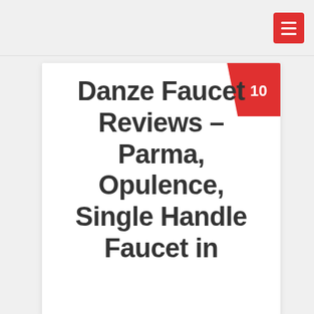Danze Faucet Reviews – Parma, Opulence, Single Handle Faucet in